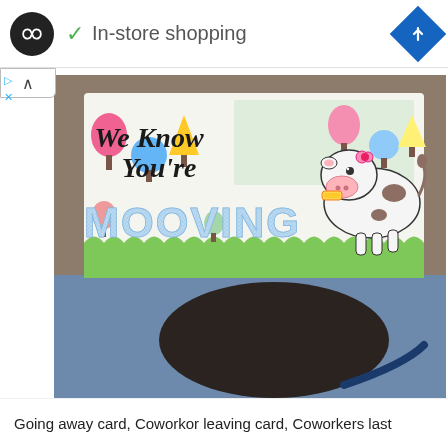[Figure (screenshot): App UI top bar with black circular logo with infinity-like symbol, green checkmark and 'In-store shopping' text, and blue diamond navigation icon on right]
[Figure (photo): Photo of a greeting card reading 'We Know You're MOOVING' with glitter letters and a cartoon cow, colorful trees on a green lawn background, held above a table with jeans visible underneath]
Going away card, Coworker leaving card, Coworkers last